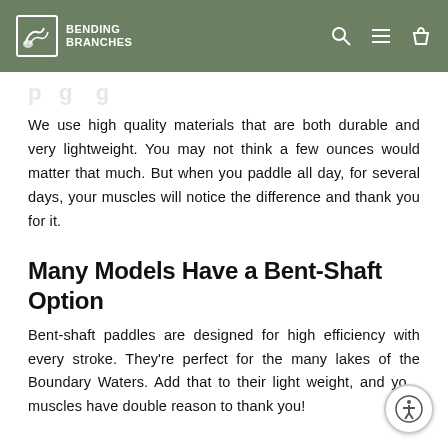Bending Branches
We use high quality materials that are both durable and very lightweight. You may not think a few ounces would matter that much. But when you paddle all day, for several days, your muscles will notice the difference and thank you for it.
Many Models Have a Bent-Shaft Option
Bent-shaft paddles are designed for high efficiency with every stroke. They're perfect for the many lakes of the Boundary Waters. Add that to their light weight, and your muscles have double reason to thank you!